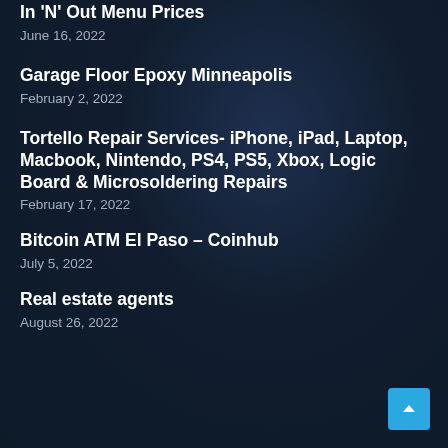In 'N' Out Menu Prices
June 16, 2022
Garage Floor Epoxy Minneapolis
February 2, 2022
Tortello Repair Services- iPhone, iPad, Laptop, Macbook, Nintendo, PS4, PS5, Xbox, Logic Board & Microsoldering Repairs
February 17, 2022
Bitcoin ATM El Paso – Coinhub
July 5, 2022
Real estate agents
August 26, 2022